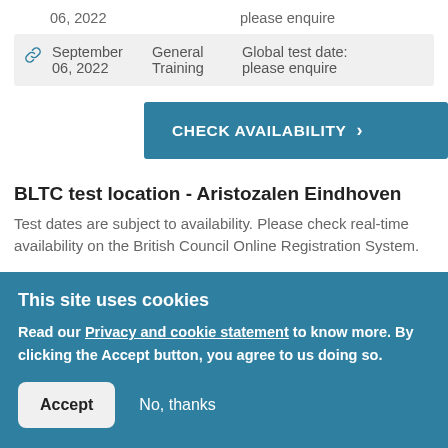06, 2022 | please enquire
|  | Date | Type | Availability |
| --- | --- | --- | --- |
| 🔗 | September 06, 2022 | General Training | Global test date: please enquire |
CHECK AVAILABILITY >
BLTC test location - Aristozalen Eindhoven
Test dates are subject to availability. Please check real-time availability on the British Council Online Registration System.
This site uses cookies
Read our Privacy and cookie statement to know more. By clicking the Accept button, you agree to us doing so.
Accept | No, thanks